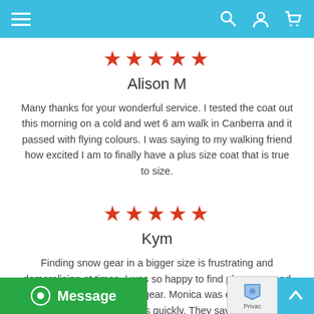Navigation bar with hamburger menu, search, account, and cart icons
★★★★★
Alison M
Many thanks for your wonderful service. I tested the coat out this morning on a cold and wet 6 am walk in Canberra and it passed with flying colours. I was saying to my walking friend how excited I am to finally have a plus size coat that is true to size.
★★★★★
Kym
Finding snow gear in a bigger size is frustrating and demoralising at times. I was so happy to find plus snow and their awesome range of gear. Monica was easy when I needed an exchange it was quickly. They saved my holida